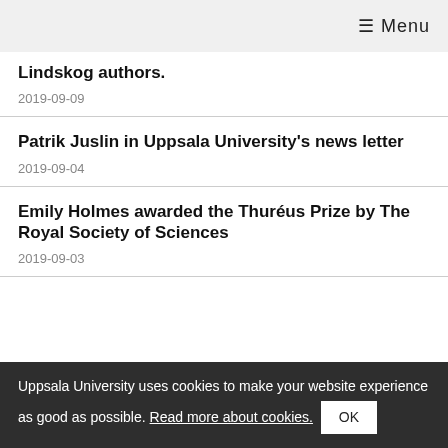☰ Menu
Lindskog authors.
2019-09-09
Patrik Juslin in Uppsala University's news letter
2019-09-04
Emily Holmes awarded the Thuréus Prize by The Royal Society of Sciences
2019-09-03
Uppsala University uses cookies to make your website experience as good as possible. Read more about cookies. OK